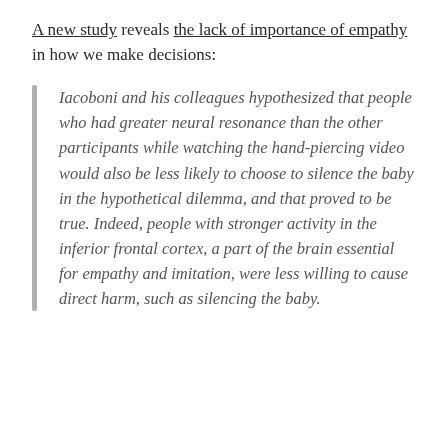A new study reveals the lack of importance of empathy in how we make decisions:
Iacoboni and his colleagues hypothesized that people who had greater neural resonance than the other participants while watching the hand-piercing video would also be less likely to choose to silence the baby in the hypothetical dilemma, and that proved to be true. Indeed, people with stronger activity in the inferior frontal cortex, a part of the brain essential for empathy and imitation, were less willing to cause direct harm, such as silencing the baby.